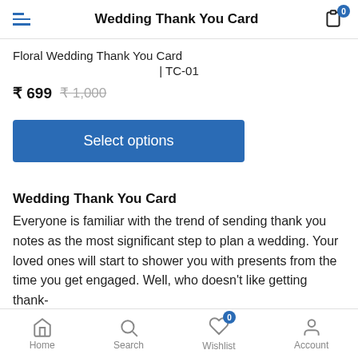Wedding Thank You Card
Floral Wedding Thank You Card | TC-01
₹ 699  ₹ 1,000
Select options
Wedding Thank You Card
Everyone is familiar with the trend of sending thank you notes as the most significant step to plan a wedding. Your loved ones will start to shower you with presents from the time you get engaged. Well, who doesn't like getting thank-
Home  Search  Wishlist  Account